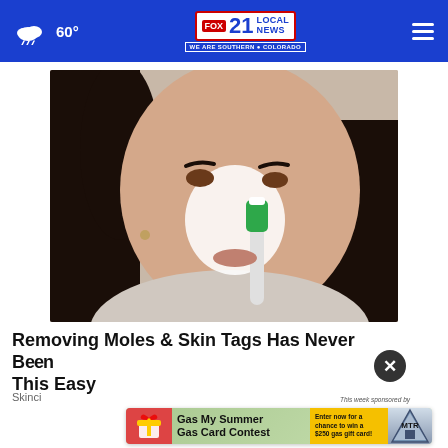☁ 60°   FOX 21 LOCAL NEWS — WE ARE SOUTHERN COLORADO   ≡
[Figure (photo): A woman applying white cream on her face with a toothbrush, covering her nose area]
Removing Moles & Skin Tags Has Never Been This Easy
Skinci...
[Figure (infographic): Advertisement banner: Gas My Summer Gas Card Contest — Enter now for a chance to win a $250 gas gift card! — MTR, This week sponsored by]